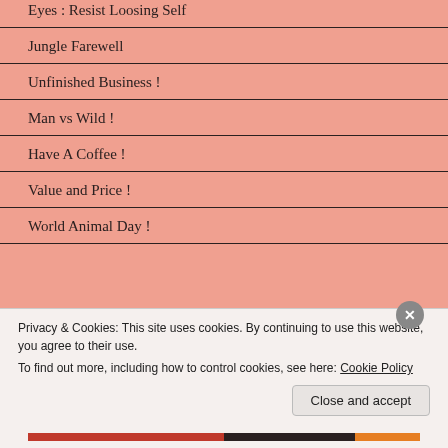Eyes : Resist Loosing Self
Jungle Farewell
Unfinished Business !
Man vs Wild !
Have A Coffee !
Value and Price !
World Animal Day !
Privacy & Cookies: This site uses cookies. By continuing to use this website, you agree to their use.
To find out more, including how to control cookies, see here: Cookie Policy
Close and accept